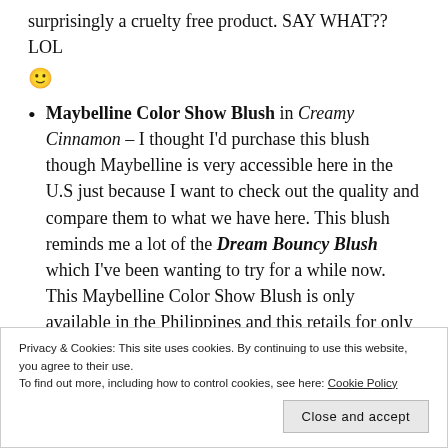surprisingly a cruelty free product. SAY WHAT?? LOL 🙂
Maybelline Color Show Blush in Creamy Cinnamon – I thought I'd purchase this blush though Maybelline is very accessible here in the U.S just because I want to check out the quality and compare them to what we have here. This blush reminds me a lot of the Dream Bouncy Blush which I've been wanting to try for a while now. This Maybelline Color Show Blush is only available in the Philippines and this retails for only 149.00 pesos (U$D3.10). This Creamy Cinnamon shade is beautiful, very pigmented and
Privacy & Cookies: This site uses cookies. By continuing to use this website, you agree to their use.
To find out more, including how to control cookies, see here: Cookie Policy
Close and accept